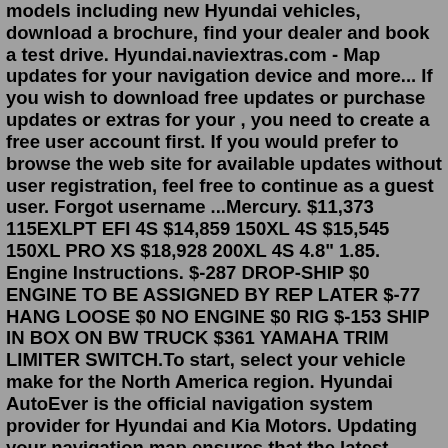models including new Hyundai vehicles, download a brochure, find your dealer and book a test drive. Hyundai.naviextras.com - Map updates for your navigation device and more... If you wish to download free updates or purchase updates or extras for your , you need to create a free user account first. If you would prefer to browse the web site for available updates without user registration, feel free to continue as a guest user. Forgot username ...Mercury. $11,373 115EXLPT EFI 4S $14,859 150XL 4S $15,545 150XL PRO XS $18,928 200XL 4S 4.8" 1.85. Engine Instructions. $-287 DROP-SHIP $0 ENGINE TO BE ASSIGNED BY REP LATER $-77 HANG LOOSE $0 NO ENGINE $0 RIG $-153 SHIP IN BOX ON BW TRUCK $361 YAMAHA TRIM LIMITER SWITCH.To start, select your vehicle make for the North America region. Hyundai AutoEver is the official navigation system provider for Hyundai and Kia Motors. Updating your navigation map ensures that the latest roads and points of interest provided by your system are at your fingertips. Get the most out of